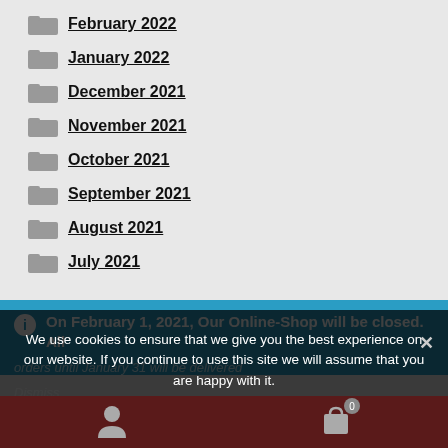February 2022
January 2022
December 2021
November 2021
October 2021
September 2021
August 2021
July 2021
On February 1, 2021, Our Online-Shop will be closed. All orders until January 31 will be delivered
Dismiss
We use cookies to ensure that we give you the best experience on our website. If you continue to use this site we will assume that you are happy with it.
Ok